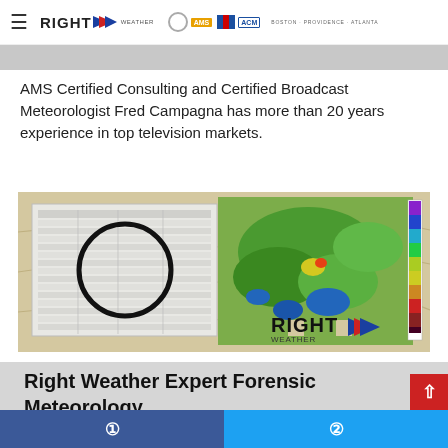RIGHT WEATHER | AMS | ACM | BOSTON · PROVIDENCE · ATLANTA
AMS Certified Consulting and Certified Broadcast Meteorologist Fred Campagna has more than 20 years experience in top television markets.
[Figure (photo): Weather map and radar imagery showing Right Weather branding with a document/spreadsheet on the left and a green terrain/radar map on the right with a color legend bar.]
Right Weather Expert Forensic Meteorology
Build a stronger court case or insurance claim by using the Right Weather team to accurately reconstruct past weather events.